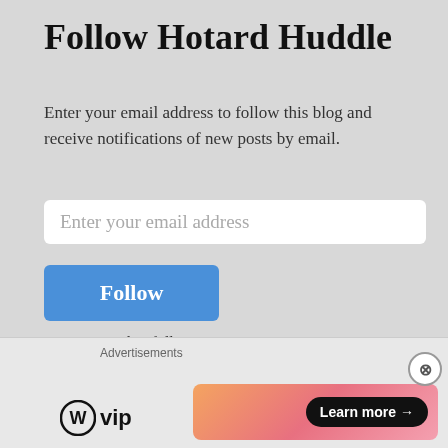Follow Hotard Huddle
Enter your email address to follow this blog and receive notifications of new posts by email.
Enter your email address
Follow
Join 1,262 other followers
Powered by Cluey Consumer
Advertisements
[Figure (logo): WordPress VIP logo with circular W icon and 'vip' text]
[Figure (screenshot): Advertisement banner with gradient background and 'Learn more' button]